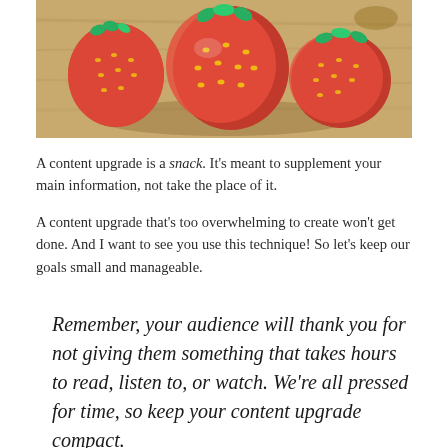[Figure (photo): Close-up photograph of fresh red strawberries on a wooden surface]
A content upgrade is a snack. It’s meant to supplement your main information, not take the place of it.
A content upgrade that’s too overwhelming to create won’t get done. And I want to see you use this technique! So let’s keep our goals small and manageable.
Remember, your audience will thank you for not giving them something that takes hours to read, listen to, or watch. We’re all pressed for time, so keep your content upgrade compact.